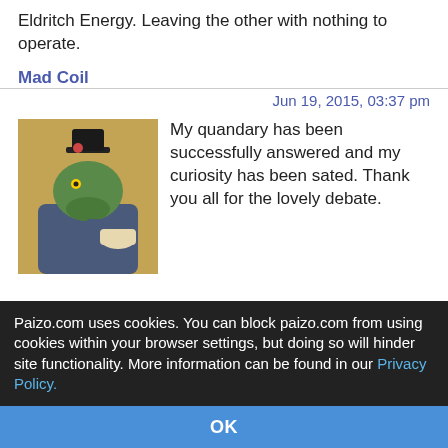Eldritch Energy. Leaving the other with nothing to operate.
Mad Coil
Jun 19, 2015, 03:37 pm
[Figure (illustration): Avatar image of an anthropomorphic alligator/crocodile in a suit and top hat, holding a teacup]
My quandary has been successfully answered and my curiosity has been sated. Thank you all for the lovely debate.
Johnny_Devo
Jun 19, 2015, 03:49 pm
[Figure (illustration): Avatar image of a black and white dragon]
LazarX wrote:
Johnny_Devo wrote:
Paizo.com uses cookies. You can block paizo.com from using cookies within your browser settings, but doing so will hinder site functionality. More information can be found in our Privacy Policy.
OK